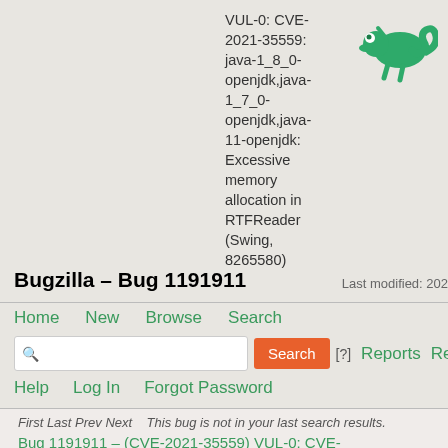[Figure (logo): Green chameleon logo (OpenSUSE/SUSE)]
VUL-0: CVE-2021-35559: java-1_8_0-openjdk,java-1_7_0-openjdk,java-11-openjdk: Excessive memory allocation in RTFReader (Swing, 8265580)
Bugzilla – Bug 1191911
Last modified: 202
Home   New   Browse   Search
Search   [?]   Reports   Requests
Help   Log In   Forgot Password
First Last Prev Next    This bug is not in your last search results.
Bug 1191911 – (CVE-2021-35559) VUL-0: CVE-